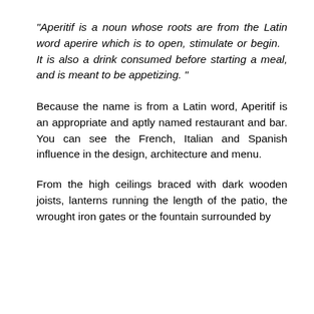"Aperitif is a noun whose roots are from the Latin word aperire which is to open, stimulate or begin.   It is also a drink consumed before starting a meal, and is meant to be appetizing. "
Because the name is from a Latin word, Aperitif is an appropriate and aptly named restaurant and bar. You can see the French, Italian and Spanish influence in the design, architecture and menu.
From the high ceilings braced with dark wooden joists, lanterns running the length of the patio, the wrought iron gates or the fountain surrounded by